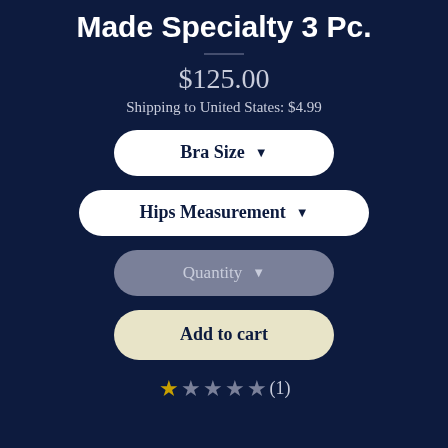Bling Elastic Wear Hand Made Specialty 3 Pc.
$125.00
Shipping to United States: $4.99
Bra Size ▼
Hips Measurement ▼
Quantity ▼
Add to cart
★★★★★(1)